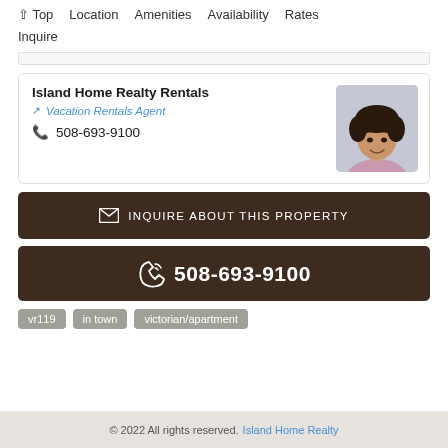↑ Top   Location   Amenities   Availability   Rates   Inquire
Island Home Realty Rentals
Vacation Rentals Agent
508-693-9100
[Figure (photo): Headshot photo of a woman with dark curly hair wearing a light purple top]
✉ INQUIRE ABOUT THIS PROPERTY
📞 508-693-9100
vr119
in town
victorian/apartment
© 2022 All rights reserved. Island Home Realty